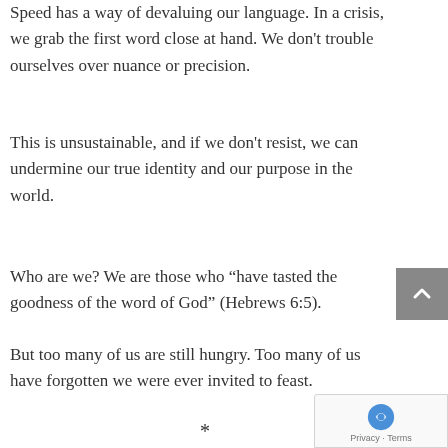Speed has a way of devaluing our language. In a crisis, we grab the first word close at hand. We don't trouble ourselves over nuance or precision.
This is unsustainable, and if we don't resist, we can undermine our true identity and our purpose in the world.
Who are we? We are those who “have tasted the goodness of the word of God” (Hebrews 6:5).
But too many of us are still hungry. Too many of us have forgotten we were ever invited to feast.
*
I suppose even rescue boats require time to build. Compared with dahlias and ducklings, boats and